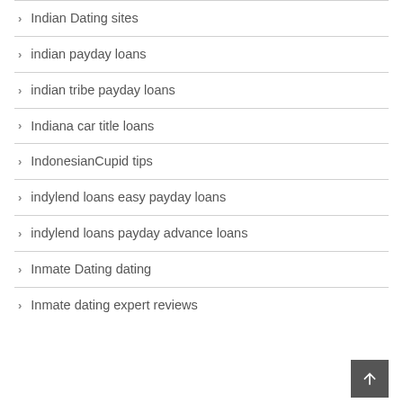Indian Dating sites
indian payday loans
indian tribe payday loans
Indiana car title loans
IndonesianCupid tips
indylend loans easy payday loans
indylend loans payday advance loans
Inmate Dating dating
Inmate dating expert reviews